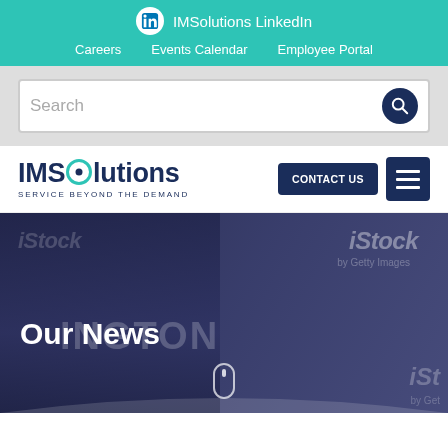IMSolutions LinkedIn | Careers | Events Calendar | Employee Portal
Search
[Figure (logo): IMSolutions logo with teal circle and tagline SERVICE BEYOND THE DEMAND]
CONTACT US
[Figure (screenshot): Hero banner with dark blue-purple overlay showing watermarked iStock images of Washington DC and a road. Text reads Our News with scroll indicator at bottom.]
Our News